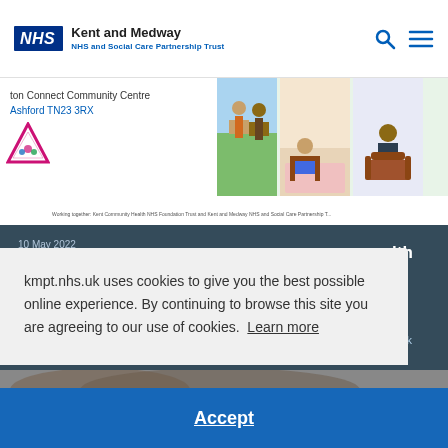NHS Kent and Medway NHS and Social Care Partnership Trust
[Figure (screenshot): Banner showing community event imagery with text 'ton Connect Community Centre Ashford TN23 3RX', triangle logo, and small text about working together: Kent Community Health NHS Foundation Trust and Kent and Medway NHS and Social Care Partnership Trust]
10 May 2022
Join our Carers Conference in
lth
ers
Week
kmpt.nhs.uk uses cookies to give you the best possible online experience. By continuing to browse this site you are agreeing to our use of cookies.  Learn more
Accept
[Figure (photo): Partial photo of a person at the bottom of the page]